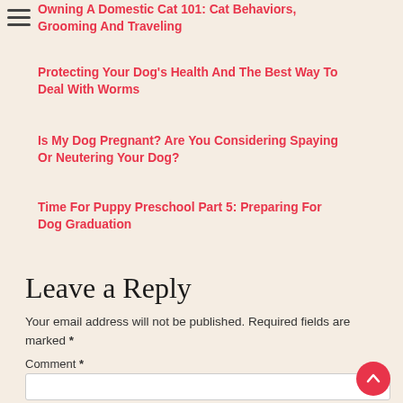Owning A Domestic Cat 101: Cat Behaviors, Grooming And Traveling
Protecting Your Dog's Health And The Best Way To Deal With Worms
Is My Dog Pregnant? Are You Considering Spaying Or Neutering Your Dog?
Time For Puppy Preschool Part 5: Preparing For Dog Graduation
Leave a Reply
Your email address will not be published. Required fields are marked *
Comment *